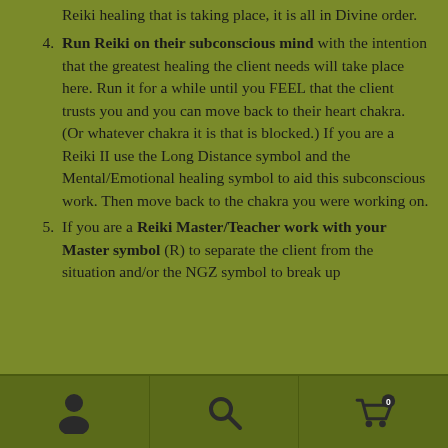Reiki healing that is taking place, it is all in Divine order.
Run Reiki on their subconscious mind with the intention that the greatest healing the client needs will take place here. Run it for a while until you FEEL that the client trusts you and you can move back to their heart chakra. (Or whatever chakra it is that is blocked.) If you are a Reiki II use the Long Distance symbol and the Mental/Emotional healing symbol to aid this subconscious work. Then move back to the chakra you were working on.
If you are a Reiki Master/Teacher work with your Master symbol (R) to separate the client from the situation and/or the NGZ symbol to break up